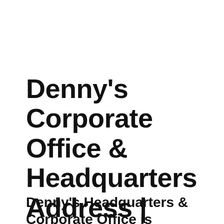Denny's Corporate Office & Headquarters Address | Phone Number
Denny's Headquarters & Corporate Office is